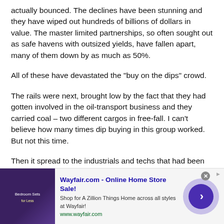actually bounced. The declines have been stunning and they have wiped out hundreds of billions of dollars in value. The master limited partnerships, so often sought out as safe havens with outsized yields, have fallen apart, many of them down by as much as 50%.
All of these have devastated the "buy on the dips" crowd.
The rails were next, brought low by the fact that they had gotten involved in the oil-transport business and they carried coal – two different cargos in free-fall. I can't believe how many times dip buying in this group worked. But not this time.
Then it spread to the industrials and techs that had been so terrific for so long. These industrials were felled by two
[Figure (other): Advertisement banner for Wayfair.com - Online Home Store Sale! with a purple bedroom furniture image, Wayfair ad text and a navigation arrow button.]